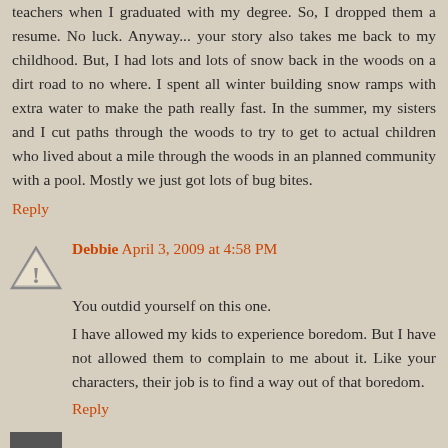teachers when I graduated with my degree. So, I dropped them a resume. No luck. Anyway... your story also takes me back to my childhood. But, I had lots and lots of snow back in the woods on a dirt road to no where. I spent all winter building snow ramps with extra water to make the path really fast. In the summer, my sisters and I cut paths through the woods to try to get to actual children who lived about a mile through the woods in an planned community with a pool. Mostly we just got lots of bug bites.
Reply
Debbie April 3, 2009 at 4:58 PM
You outdid yourself on this one.
I have allowed my kids to experience boredom. But I have not allowed them to complain to me about it. Like your characters, their job is to find a way out of that boredom.
Reply
Captain Dumbass April 3, 2009 at 6:54 PM